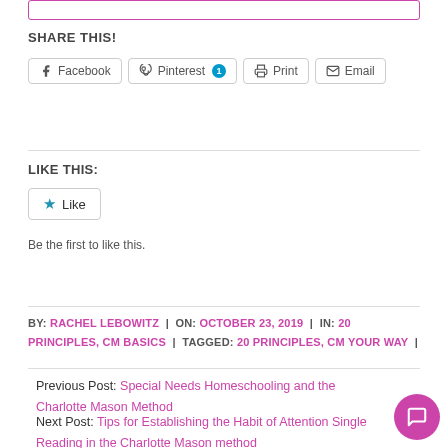SHARE THIS!
Facebook | Pinterest 1 | Print | Email
LIKE THIS:
Like
Be the first to like this.
BY: RACHEL LEBOWITZ | ON: OCTOBER 23, 2019 | IN: 20 PRINCIPLES, CM BASICS | TAGGED: 20 PRINCIPLES, CM YOUR WAY |
Previous Post: Special Needs Homeschooling and the Charlotte Mason Method
Next Post: Tips for Establishing the Habit of Attention Single Reading in the Charlotte Mason method